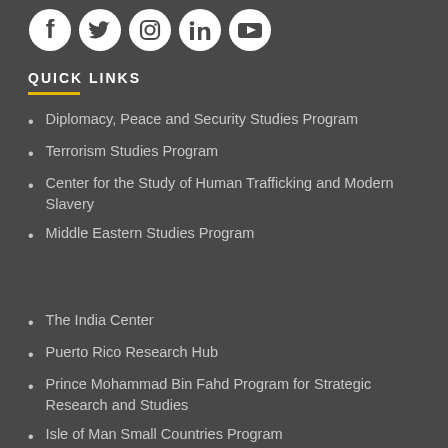[Figure (illustration): Row of five white social media icons on dark background: Facebook, Twitter, Instagram, LinkedIn, YouTube]
QUICK LINKS
Diplomacy, Peace and Security Studies Program
Terrorism Studies Program
Center for the Study of Human Trafficking and Modern Slavery
Middle Eastern Studies Program
The India Center
Puerto Rico Research Hub
Prince Mohammad Bin Fahd Program for Strategic Research and Studies
Isle of Man Small Countries Program